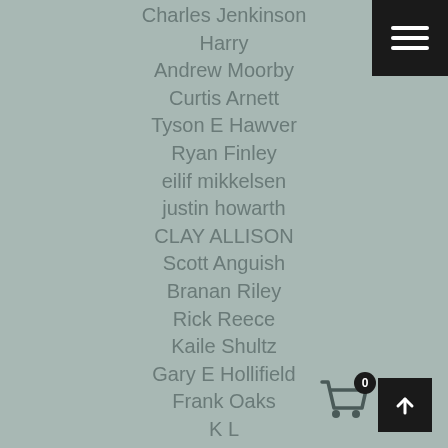[Figure (screenshot): Menu hamburger icon button in top-right black square]
Charles Jenkinson
Harry
Andrew Moorby
Curtis Arnett
Tyson E Hawver
Ryan Finley
eilif mikkelsen
justin howarth
CLAY ALLISON
Scott Anguish
Branan Riley
Rick Reece
Kaile Shultz
Gary E Hollifield
Frank Oaks
K L
Mark Eggers
David Fairbanks
Mark Sidell
[Figure (screenshot): Shopping cart icon with badge showing 0, and upload/arrow-up button in black square]